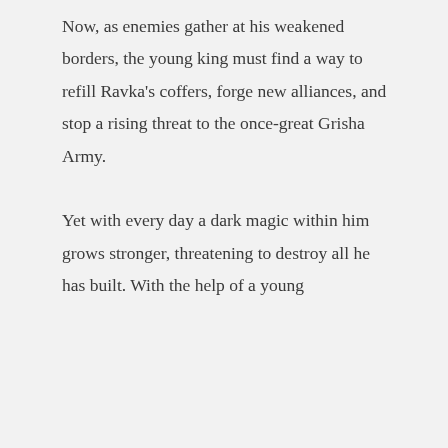Now, as enemies gather at his weakened borders, the young king must find a way to refill Ravka's coffers, forge new alliances, and stop a rising threat to the once-great Grisha Army.

Yet with every day a dark magic within him grows stronger, threatening to destroy all he has built. With the help of a young